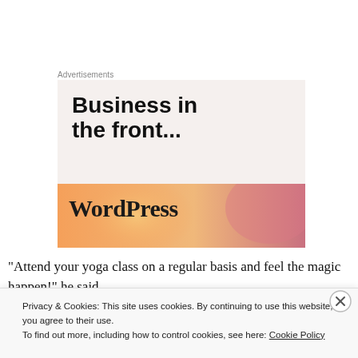Advertisements
[Figure (illustration): WordPress advertisement banner with text 'Business in the front...' and WordPress logo on an orange gradient banner against a light beige background.]
“Attend your yoga class on a regular basis and feel the magic happen!” he said
Privacy & Cookies: This site uses cookies. By continuing to use this website, you agree to their use.
To find out more, including how to control cookies, see here: Cookie Policy
Close and accept